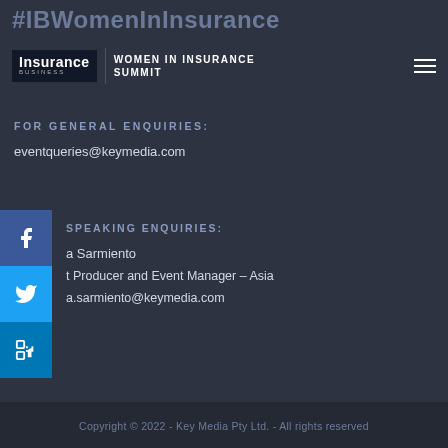#IBWomenInInsurance
Insurance Business | WOMEN IN INSURANCE SUMMIT
FOR GENERAL ENQUIRIES:
eventqueries@keymedia.com
FOR SPEAKING ENQUIRIES:
a Sarmiento
t Producer and Event Manager – Asia
a.sarmiento@keymedia.com
Copyright © 2022 - Key Media Pty Ltd. - All rights reserved